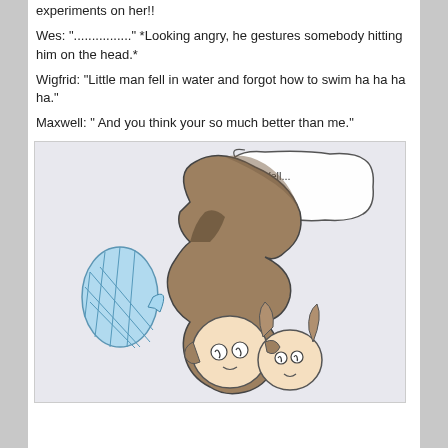experiments on her!!
Wes: "................" *Looking angry, he gestures somebody hitting him on the head.*
Wigfrid: "Little man fell in water and forgot how to swim ha ha ha ha."
Maxwell: " And you think your so much better than me."
[Figure (illustration): Hand-drawn illustration of two cartoon characters. A character with large swooping dark hair is in the center. A speech bubble reads 'I.. Well... umm...' A blue diamond-patterned speech bubble is on the left side.]